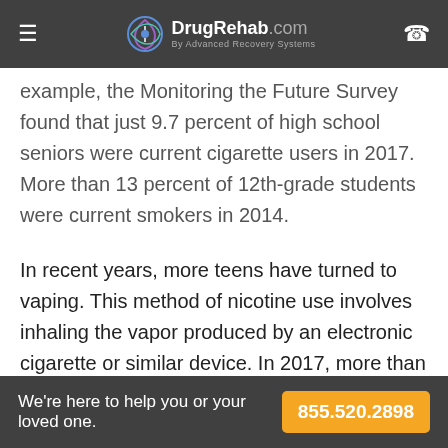DrugRehab.com By Advanced Recovery Systems
example, the Monitoring the Future Survey found that just 9.7 percent of high school seniors were current cigarette users in 2017. More than 13 percent of 12th-grade students were current smokers in 2014.
In recent years, more teens have turned to vaping. This method of nicotine use involves inhaling the vapor produced by an electronic cigarette or similar device. In 2017, more than 16 percent of 12th-graders were current vapers.
We're here to help you or your loved one. 855.520.2898